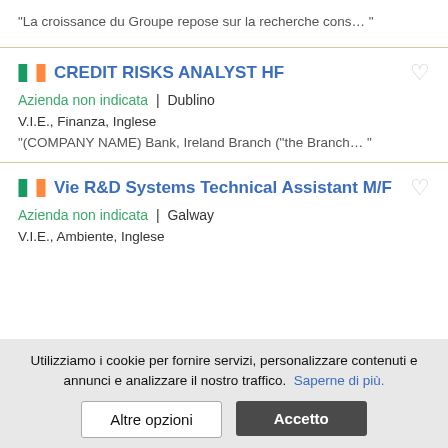"La croissance du Groupe repose sur la recherche cons… "
CREDIT RISKS ANALYST HF
Azienda non indicata | Dublino
V.I.E., Finanza, Inglese
"(COMPANY NAME) Bank, Ireland Branch ("the Branch… "
Vie R&D Systems Technical Assistant M/F
Azienda non indicata | Galway
V.I.E., Ambiente, Inglese
Utilizziamo i cookie per fornire servizi, personalizzare contenuti e annunci e analizzare il nostro traffico. Saperne di più.
Altre opzioni
Accetto